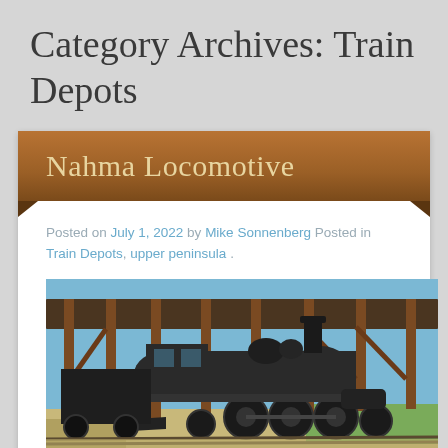Category Archives: Train Depots
Nahma Locomotive
Posted on July 1, 2022 by Mike Sonnenberg Posted in Train Depots, upper peninsula .
[Figure (photo): A vintage black steam locomotive displayed under a wooden open-sided shelter/pavilion with brown timber posts, sitting on tracks surrounded by gravel and grass, photographed under a blue sky.]